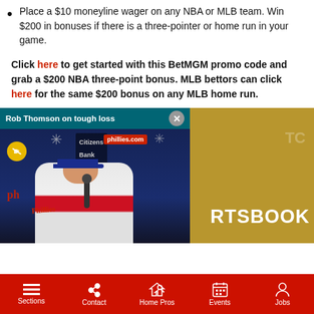Place a $10 moneyline wager on any NBA or MLB team. Win $200 in bonuses if there is a three-pointer or home run in your game.
Click here to get started with this BetMGM promo code and grab a $200 NBA three-point bonus. MLB bettors can click here for the same $200 bonus on any MLB home run.
[Figure (screenshot): Video player overlay showing Rob Thomson press conference at Citizens Bank Park with Phillies branding. Header reads 'Rob Thomson on tough loss' with a close button. A muted speaker icon is visible. Partial RTSBOOK text visible on right side over gold background.]
Sections | Contact | Home Pros | Events | Jobs